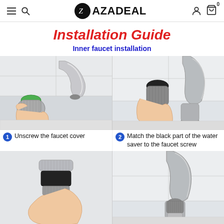LAZADEAL
Installation Guide
Inner faucet installation
[Figure (photo): Step 1: Hand holding a faucet aerator with a green filter, next to a chrome bathroom faucet]
[Figure (photo): Step 2: Hand matching the black part of a water saver aerator to a chrome faucet screw]
1 Unscrew the faucet cover
2 Match the black part of the water saver to the faucet screw
[Figure (photo): Step 3: Hand holding a chrome and black faucet aerator/water saver device]
[Figure (photo): Step 4: Installed water saver aerator attached to the bottom of a chrome bathroom faucet]